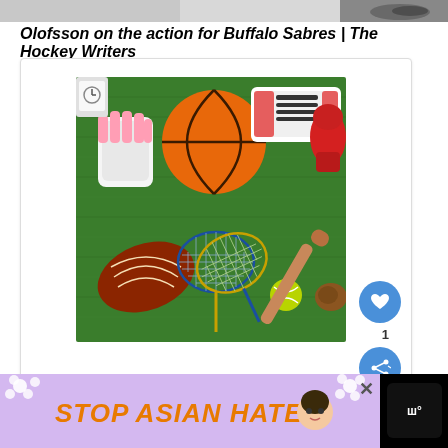[Figure (photo): Partial top strip showing a cropped image of sports shoes on white background]
Olofsson on the action for Buffalo Sabres | The Hockey Writers
[Figure (photo): Sports equipment laid out on green artificial grass: basketball, goalkeeper gloves, sneakers, boxing gloves, badminton rackets, tennis ball, baseball bat, football/rugby ball]
[Figure (infographic): Like button (heart icon) showing count of 1, and share button, on right side of card]
[Figure (infographic): Advertisement banner at bottom: 'STOP ASIAN HATE' text in orange on purple/lavender background with floral decoration and anime-style character, with X close button and Woo logo]